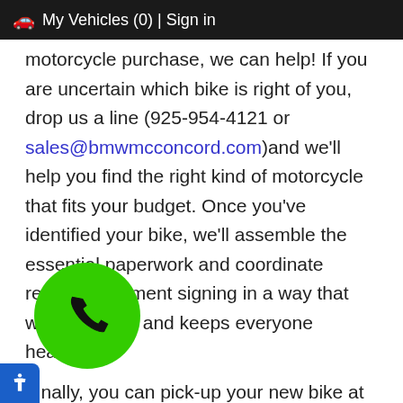🚗 My Vehicles (0) | Sign in
motorcycle purchase, we can help! If you are uncertain which bike is right of you, drop us a line (925-954-4121 or sales@bmwmcconcord.com)and we'll help you find the right kind of motorcycle that fits your budget. Once you've identified your bike, we'll assemble the essential paperwork and coordinate remote document signing in a way that works for you and keeps everyone healthy.
Finally, you can pick-up your new bike at our shop or we'll deliver your new BMW Motorcycle or pre-owned motorcycle, to the location of your choosing, free of charge within 50 miles! We can also arrange shipping for customers that are located further out but some additional charges may apply.